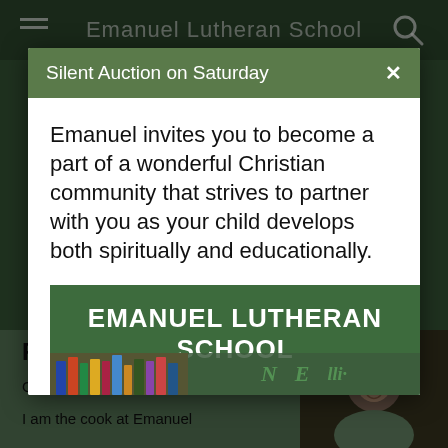[Figure (screenshot): Background of the Emanuel Lutheran School website, partially visible behind a modal dialog. Shows a dark green header with hamburger menu and search icon, and a bottom section with a name 'Rhonda Schauer', greeting text, and a photo of a person.]
Silent Auction on Saturday
Emanuel invites you to become a part of a wonderful Christian community that strives to partner with you as your child develops both spiritually and educationally.
[Figure (logo): Emanuel Lutheran School banner/logo with dark green background, bold white text reading 'EMANUEL LUTHERAN SCHOOL', and a bottom strip with book images and stylized letters N, E, and cursive letters.]
Rhonda Schauer
Greetings,
I am the cook at Emanuel